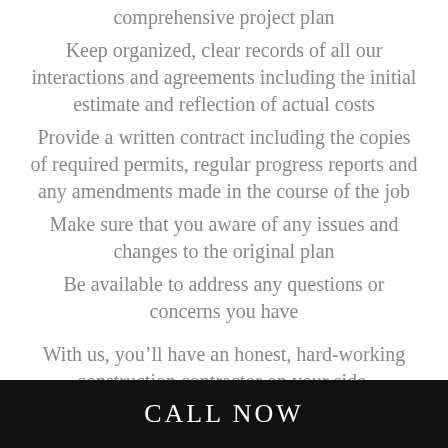comprehensive project plan
Keep organized, clear records of all our interactions and agreements including the initial estimate and reflection of actual costs
Provide a written contract including the copies of required permits, regular progress reports and any amendments made in the course of the job
Make sure that you aware of any issues and changes to the original plan
Be available to address any questions or concerns you have
With us, you’ll have an honest, hard-working construction contractor on your side.
CALL NOW